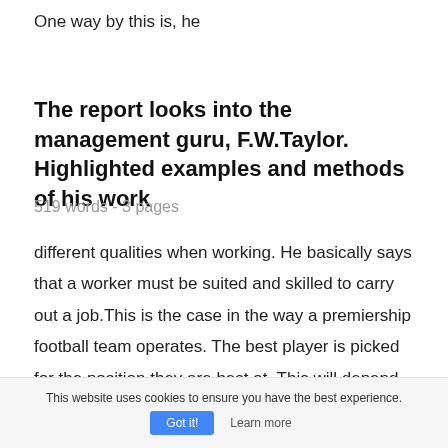One way by this is, he
The report looks into the management guru, F.W.Taylor. Highlighted examples and methods of his work
519 words - 3 pages
different qualities when working. He basically says that a worker must be suited and skilled to carry out a job.This is the case in the way a premiership football team operates. The best player is picked for the position they are best at. This will depend on the
This website uses cookies to ensure you have the best experience.